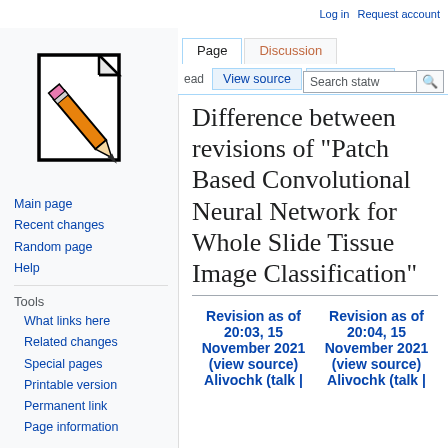Log in  Request account
[Figure (logo): Wikipedia-style wiki logo: a document page with a pencil overlaid, black outline on white background with yellow/orange pencil and pink eraser]
Main page
Recent changes
Random page
Help
Tools
What links here
Related changes
Special pages
Printable version
Permanent link
Page information
Difference between revisions of "Patch Based Convolutional Neural Network for Whole Slide Tissue Image Classification"
| Revision as of 20:03, 15 November 2021 (view source) | Revision as of 20:04, 15 November 2021 (view source) |
| --- | --- |
| Alivochk (talk | | Alivochk (talk | |